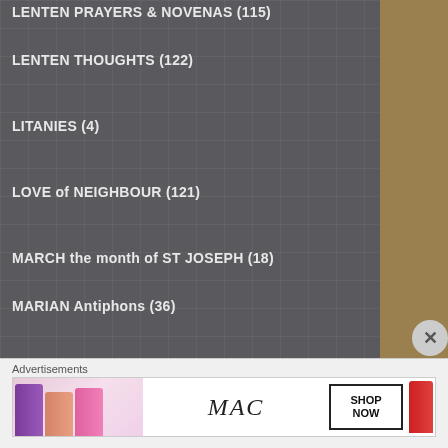LENTEN PRAYERS & NOVENAS (115)
LENTEN THOUGHTS (122)
LITANIES (4)
LOVE of NEIGHBOUR (121)
MARCH the month of ST JOSEPH (18)
MARIAN Antiphons (36)
MARIAN Aspirations and Ejaculations (10)
MARIAN DEVOTIONS (307)
MARIAN HYMNS (10)
MARIAN NOVENAS (10)
MARIAN POETRY (56)
Advertisements
[Figure (photo): MAC cosmetics advertisement showing colorful lipsticks with SHOP NOW button]